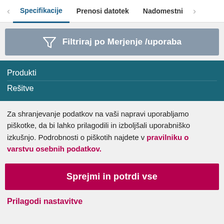Specifikacije   Prenosi datotek   Nadomestni
[Figure (infographic): Filter button with funnel icon: Filtriraj po Merjenje /uporaba]
Produkti
Rešitve
Za shranjevanje podatkov na vaši napravi uporabljamo piškotke, da bi lahko prilagodili in izboljšali uporabniško izkušnjo. Podrobnosti o piškotih najdete v pravilniku o varstvu osebnih podatkov.
[Figure (infographic): Pink/magenta button: Sprejmi in potrdi vse]
Prilagodi nastavitve